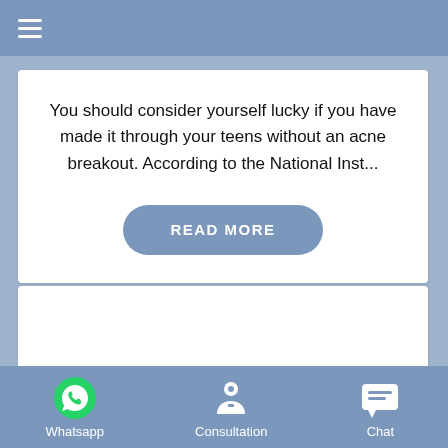≡
You should consider yourself lucky if you have made it through your teens without an acne breakout. According to the National Inst...
READ MORE
[Figure (other): Second article card, partially visible, content not shown]
Whatsapp   Consultation   Chat